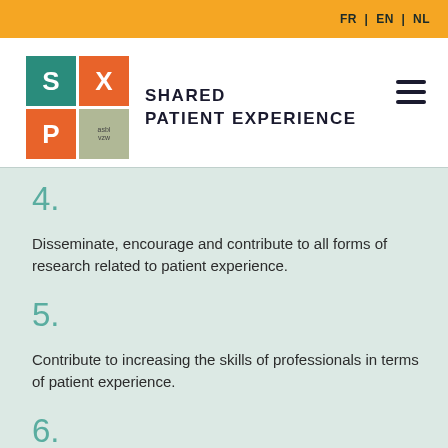FR | EN | NL
[Figure (logo): Shared Patient Experience logo with SXP grid tiles in teal and orange]
4.
Disseminate, encourage and contribute to all forms of research related to patient experience.
5.
Contribute to increasing the skills of professionals in terms of patient experience.
6.